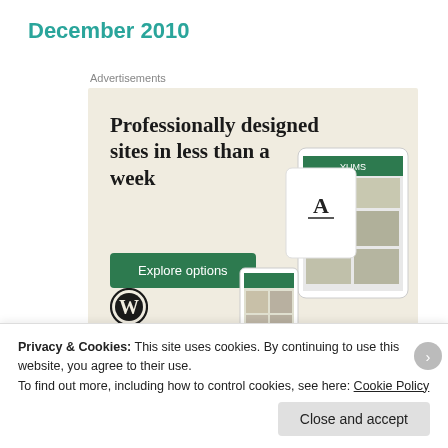December 2010
Advertisements
[Figure (illustration): WordPress advertisement banner with beige background showing text 'Professionally designed sites in less than a week' with a green 'Explore options' button, WordPress logo, and mockup screenshots of websites on devices.]
Privacy & Cookies: This site uses cookies. By continuing to use this website, you agree to their use.
To find out more, including how to control cookies, see here: Cookie Policy
Close and accept